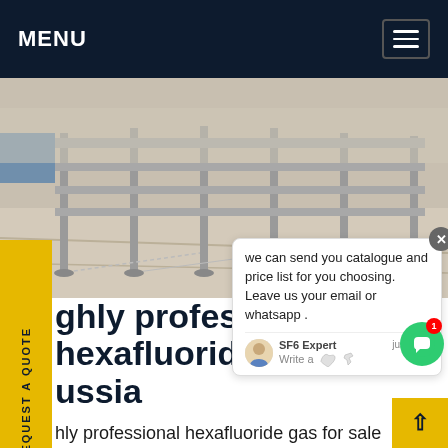MENU
[Figure (photo): Photo of metal fence/railing with paved ground, outdoor urban setting]
REQUEST A QUOTE
we can send you catalogue and price list for you choosing. Leave us your email or whatsapp .
SF6 Expert   just now
Write a
ghly professional hexafluoride gas for sale russia
hly professional hexafluoride gas for sale russia,5/1/2022MOSCOW, January 5. /TASS/. The crew of the Grigory Lovtsov cargo ship, which issued a distress signal in the Sea of Okhotsk on Tuesday Get price